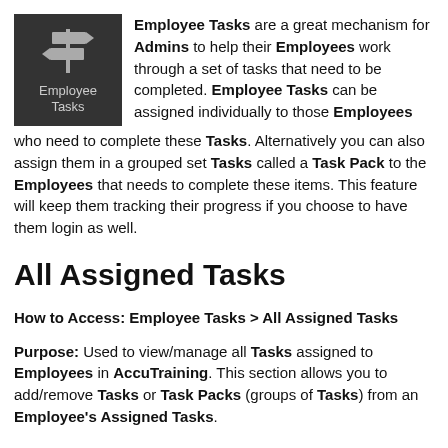[Figure (logo): Dark gray square icon with signpost/directions symbol and text 'Employee Tasks' below in light gray]
Employee Tasks are a great mechanism for Admins to help their Employees work through a set of tasks that need to be completed. Employee Tasks can be assigned individually to those Employees who need to complete these Tasks. Alternatively you can also assign them in a grouped set Tasks called a Task Pack to the Employees that needs to complete these items. This feature will keep them tracking their progress if you choose to have them login as well.
All Assigned Tasks
How to Access: Employee Tasks > All Assigned Tasks
Purpose: Used to view/manage all Tasks assigned to Employees in AccuTraining. This section allows you to add/remove Tasks or Task Packs (groups of Tasks) from an Employee's Assigned Tasks.